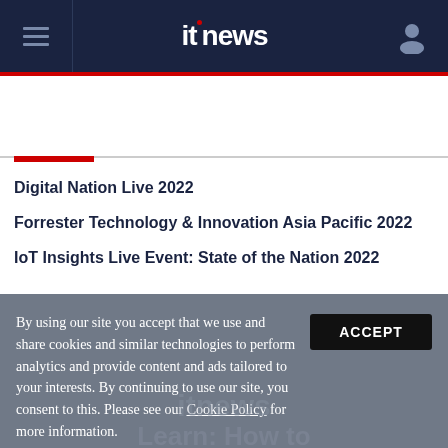itnews
Digital Nation Live 2022
Forrester Technology & Innovation Asia Pacific 2022
IoT Insights Live Event: State of the Nation 2022
By using our site you accept that we use and share cookies and similar technologies to perform analytics and provide content and ads tailored to your interests. By continuing to use our site, you consent to this. Please see our Cookie Policy for more information.